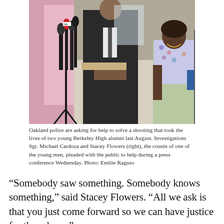[Figure (photo): A press conference scene showing a man in a dark suit speaking at a podium with multiple microphones (news outlet mics visible: ABC 7, 740), with a woman in a floral top and light green pants standing to the right. A pink banner/poster is visible in the background.]
Oakland police are asking for help to solve a shooting that took the lives of two young Berkeley High alumni last August. Investigations Sgt. Michael Cardoza and Stacey Flowers (right), the cousin of one of the young men, pleaded with the public to help during a press conference Wednesday. Photo: Emilie Raguso
“Somebody saw something. Somebody knows something,” said Stacey Flowers. “All we ask is that you just come forward so we can have justice for these boys.”